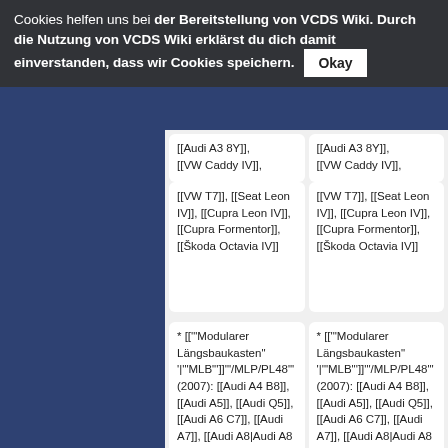Cookies helfen uns bei der Bereitstellung von VCDS Wiki. Durch die Nutzung von VCDS Wiki erklärst du dich damit einverstanden, dass wir Cookies speichern. Okay
| [[Audi A3 8Y]], [[VW Caddy IV]], [[VW T7]], [[Seat Leon IV]], [[Cupra Leon IV]], [[Cupra Formentor]], [[Škoda Octavia IV]] | [[Audi A3 8Y]], [[VW Caddy IV]], [[VW T7]], [[Seat Leon IV]], [[Cupra Leon IV]], [[Cupra Formentor]], [[Škoda Octavia IV]] |
| * [["Modularer Längsbaukasten" '|'"MLB"']]'"/MLP/PL48"' (2007): [[Audi A4 B8]], [[Audi A5]], [[Audi Q5]], [[Audi A6 C7]], [[Audi A7]], [[Audi A8|Audi A8 D4]], [[Porsche Macan]] | * [["Modularer Längsbaukasten" '|'"MLB"']]'"/MLP/PL48"' (2007): [[Audi A4 B8]], [[Audi A5]], [[Audi Q5]], [[Audi A6 C7]], [[Audi A7]], [[Audi A8|Audi A8 D4]], [[Porsche Macan]] |
| * [["Modularer | * [["Modularer |